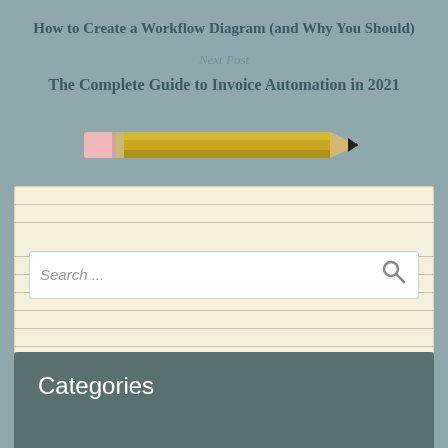How to Create a Workflow Diagram (and Why You Should)
Next Post
The Complete Guide to Invoice Automation in 2021
[Figure (illustration): Illustration of a yellow pencil with pink eraser and dark tip, pointing to the right]
[Figure (screenshot): Search input widget on a lined notepad background with search icon]
Categories